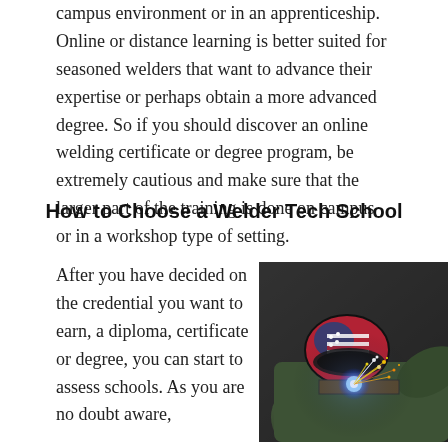campus environment or in an apprenticeship. Online or distance learning is better suited for seasoned welders that want to advance their expertise or perhaps obtain a more advanced degree. So if you should discover an online welding certificate or degree program, be extremely cautious and make sure that the larger part of the training is done on campus or in a workshop type of setting.
How to Choose a Welder Tech School
After you have decided on the credential you want to earn, a diploma, certificate or degree, you can start to assess schools. As you are no doubt aware,
[Figure (photo): A welder wearing an American flag-patterned welding helmet, actively welding with bright sparks flying, wearing a green jacket.]